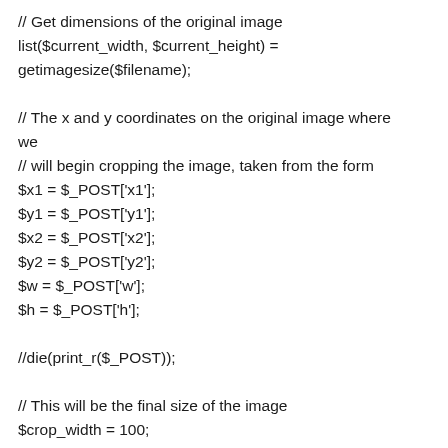// Get dimensions of the original image
list($current_width, $current_height) =
getimagesize($filename);

// The x and y coordinates on the original image where we
// will begin cropping the image, taken from the form
$x1 = $_POST['x1'];
$y1 = $_POST['y1'];
$x2 = $_POST['x2'];
$y2 = $_POST['y2'];
$w = $_POST['w'];
$h = $_POST['h'];

//die(print_r($_POST));

// This will be the final size of the image
$crop_width = 100;